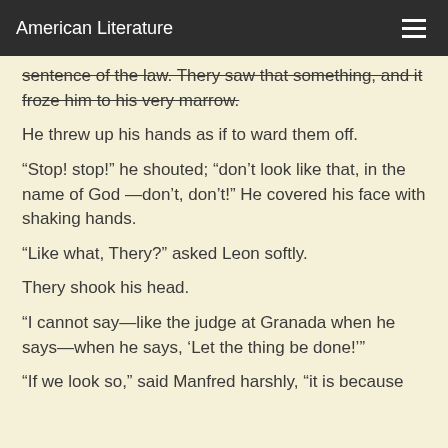American Literature
sentence of the law. Thery saw that something, and it froze him to his very marrow.
He threw up his hands as if to ward them off.
“Stop! stop!” he shouted; “don’t look like that, in the name of God —don’t, don’t!” He covered his face with shaking hands.
“Like what, Thery?” asked Leon softly.
Thery shook his head.
“I cannot say—like the judge at Granada when he says—when he says, ‘Let the thing be done!’”
“If we look so,” said Manfred harshly, “it is because